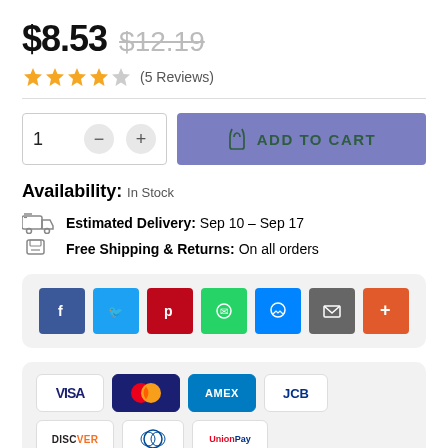$8.53  $12.19
★★★★☆ (5 Reviews)
1  −  +  ADD TO CART
Availability: In Stock
Estimated Delivery: Sep 10 – Sep 17
Free Shipping & Returns: On all orders
[Figure (infographic): Social share buttons: Facebook, Twitter, Pinterest, WhatsApp, Messenger, Email, More]
[Figure (infographic): Payment method icons: VISA, Mastercard, AMEX, JCB, DISCOVER, Diners Club, UnionPay]
Guarantee safe & secure checkout